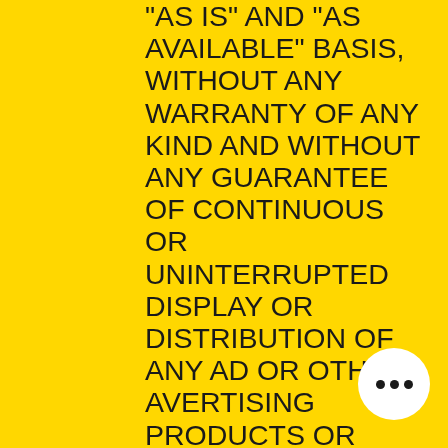"AS IS" AND "AS AVAILABLE" BASIS, WITHOUT ANY WARRANTY OF ANY KIND AND WITHOUT ANY GUARANTEE OF CONTINUOUS OR UNINTERRUPTED DISPLAY OR DISTRIBUTION OF ANY AD OR OTHER AVERTISING PRODUCTS OR SERVICES. IN THE EVENT OF INTERRUPTION OF DISPLAY OR DISTRIBUTION OF ANY AD OR OTHER AVERTISING PRODUCTS OR SERVICES, BXB'S SOLE OBLIGATION WILL BE TO RESTORE SERVICE AS SOON AS PRACTICABLE. BXB DISCLAIMS ALL WARRANTIES OF ANY KIND, WHETHER EXPRESS OR IMPLIED, INCLUDING BUT NOT LIMITED TO THE IMPLIED WARRANTY OF MERCHANTABILITY OR FITNESS FOR A PARTICULAR PURPOSE, IMPLIED WARRANTIES ARISING FROM COURSE OF DEALING OR
[Figure (illustration): Chat bubble icon — white circle with three black dots inside, overlaid on bottom-right of text]